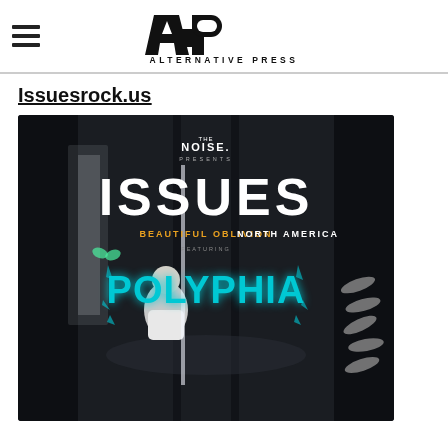[Figure (logo): Alternative Press (AP) logo with hamburger menu icon on left]
Issuesrock.us
[Figure (photo): Concert tour poster for Issues 'Beautiful Oblivion North America' tour presented by The Noise, featuring Polyphia. Dark atmospheric image with figure and stylized band logos in cyan.]